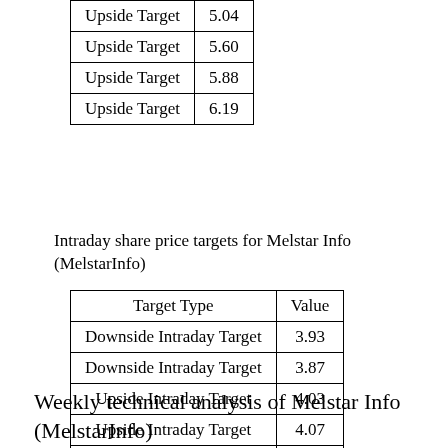| Target Type | Value |
| --- | --- |
| Upside Target | 5.04 |
| Upside Target | 5.60 |
| Upside Target | 5.88 |
| Upside Target | 6.19 |
Intraday share price targets for Melstar Info (MelstarInfo)
| Target Type | Value |
| --- | --- |
| Downside Intraday Target | 3.93 |
| Downside Intraday Target | 3.87 |
| Upside Intraday Target | 4.03 |
| Upside Intraday Target | 4.07 |
| Downside Intraday Target | 3.97 |
Weekly technical analysis of Melstar Info (MelstarInfo)